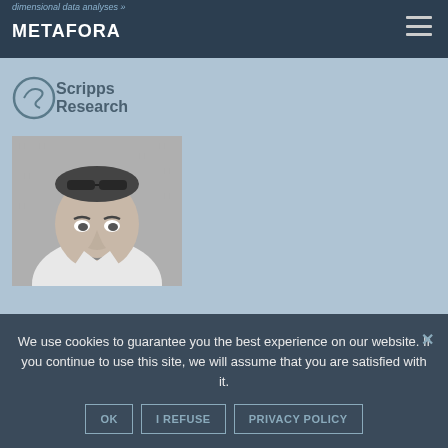dimensional data analyses »
[Figure (logo): METAFORA logo in white text on dark navy bar]
[Figure (logo): Scripps Research logo with circular emblem and text 'Scripps Research']
[Figure (photo): Black and white portrait photo of a man with sunglasses on his head, smiling, wearing a white shirt]
We use cookies to guarantee you the best experience on our website. If you continue to use this site, we will assume that you are satisfied with it.
OK  I REFUSE  PRIVACY POLICY